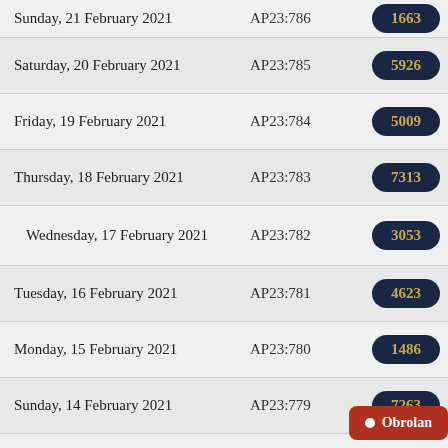| Date | Code | Value1 | Value2 |
| --- | --- | --- | --- |
| Sunday, 21 February 2021 | AP23:786 | 1663 | 6678 |
| Saturday, 20 February 2021 | AP23:785 | 5926 | 1401 |
| Friday, 19 February 2021 | AP23:784 | 5009 | 7345 |
| Thursday, 18 February 2021 | AP23:783 | 7313 | 5201 |
| Wednesday, 17 February 2021 | AP23:782 | 3053 | 2817 |
| Tuesday, 16 February 2021 | AP23:781 | 4623 | 9690 |
| Monday, 15 February 2021 | AP23:780 | 1486 | 3924 |
| Sunday, 14 February 2021 | AP23:779 | 7263 | 4050 |
| Saturday, 13 February 2021 | AP23:778 | ... | ... |